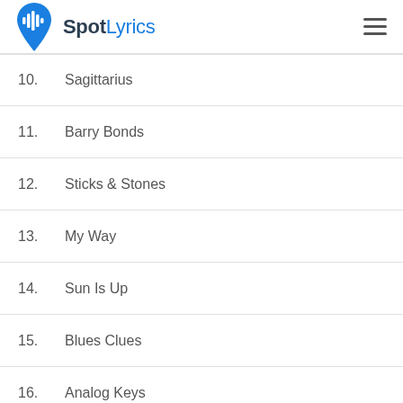SpotLyrics
10.  Sagittarius
11.  Barry Bonds
12.  Sticks & Stones
13.  My Way
14.  Sun Is Up
15.  Blues Clues
16.  Analog Keys